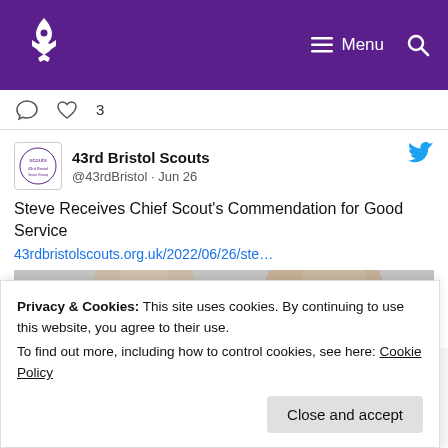Scouts navigation bar with logo and menu
[Figure (screenshot): Twitter/social media interaction bar showing comment icon and heart icon with count 3]
[Figure (screenshot): Tweet card from 43rd Bristol Scouts (@43rdBristol) dated Jun 26. Text: Steve Receives Chief Scout's Commendation for Good Service. Link: 43rdbristolscouts.org.uk/2022/06/26/ste... with a photo of two men smiling.]
Privacy & Cookies: This site uses cookies. By continuing to use this website, you agree to their use.
To find out more, including how to control cookies, see here: Cookie Policy
Close and accept